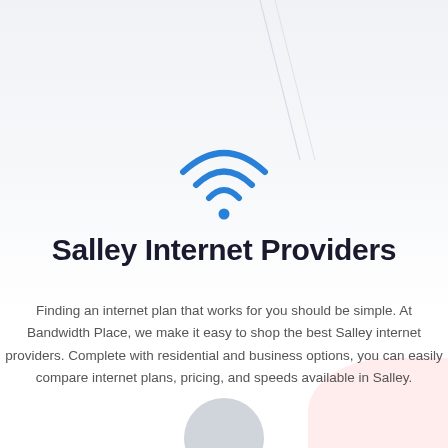[Figure (illustration): WiFi signal icon in blue, showing three arcs and a dot at the bottom center]
Salley Internet Providers
Finding an internet plan that works for you should be simple. At Bandwidth Place, we make it easy to shop the best Salley internet providers. Complete with residential and business options, you can easily compare internet plans, pricing, and speeds available in Salley.